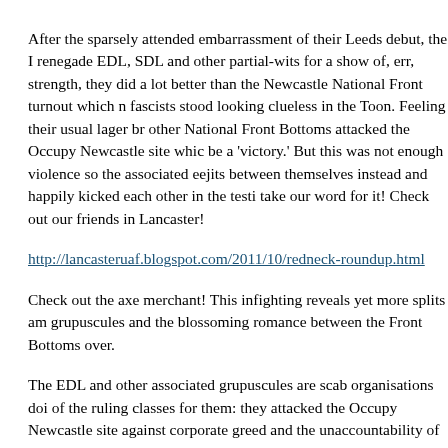After the sparsely attended embarrassment of their Leeds debut, the I renegade EDL, SDL and other partial-wits for a show of, err, strength, they did a lot better than the Newcastle National Front turnout which n fascists stood looking clueless in the Toon. Feeling their usual lager br other National Front Bottoms attacked the Occupy Newcastle site whic be a 'victory.' But this was not enough violence so the associated eejits between themselves instead and happily kicked each other in the testi take our word for it! Check out our friends in Lancaster!
http://lancasteruaf.blogspot.com/2011/10/redneck-roundup.html
Check out the axe merchant! This infighting reveals yet more splits am grupuscules and the blossoming romance between the Front Bottoms over.
The EDL and other associated grupuscules are scab organisations doi of the ruling classes for them: they attacked the Occupy Newcastle site against corporate greed and the unaccountability of capitalist organisa attack students who were protesting against education cuts and view a clarse' which is naïve beyond belief; and they opposed the massive ma was protesting against the decline in living standards, government aus sector jobs and pensions. No doubt, they will oppose future demonstr